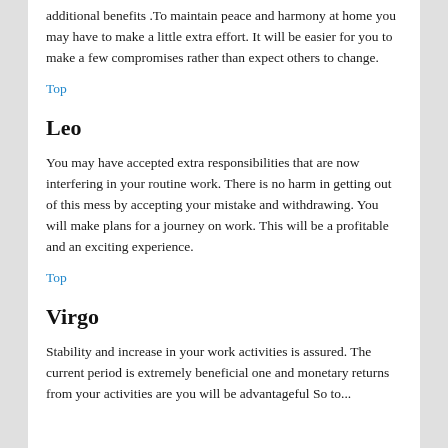additional benefits .To maintain peace and harmony at home you may have to make a little extra effort. It will be easier for you to make a few compromises rather than expect others to change.
Top
Leo
You may have accepted extra responsibilities that are now interfering in your routine work. There is no harm in getting out of this mess by accepting your mistake and withdrawing. You will make plans for a journey on work. This will be a profitable and an exciting experience.
Top
Virgo
Stability and increase in your work activities is assured. The current period is extremely beneficial one and monetary returns from your activities are you will be advantageful So to...